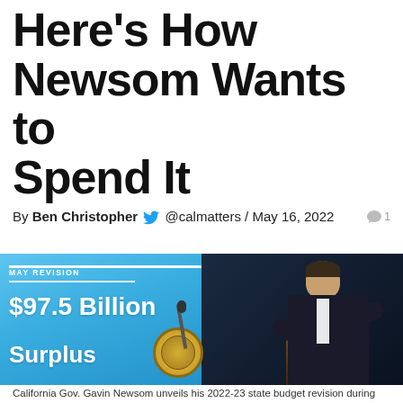Here's How Newsom Wants to Spend It
By Ben Christopher @calmatters / May 16, 2022
[Figure (photo): California Gov. Gavin Newsom speaking at a podium in front of a blue slide reading 'MAY REVISION $97.5 Billion Surplus' with the California state seal visible, against a dark curtained background.]
California Gov. Gavin Newsom unveils his 2022-23 state budget revision during